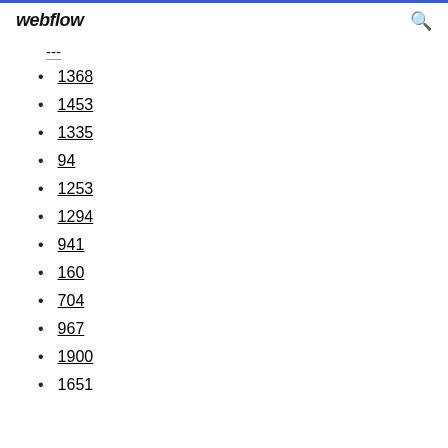webflow
---
1368
1453
1335
94
1253
1294
941
160
704
967
1900
1651